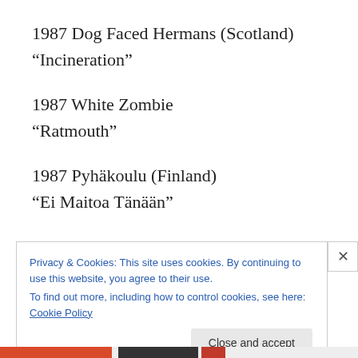1987 Dog Faced Hermans (Scotland)
“Incineration”
1987 White Zombie
“Ratmouth”
1987 Pyhäkoulu (Finland)
“Ei Maitoa Tänään”
Privacy & Cookies: This site uses cookies. By continuing to use this website, you agree to their use.
To find out more, including how to control cookies, see here: Cookie Policy
Close and accept